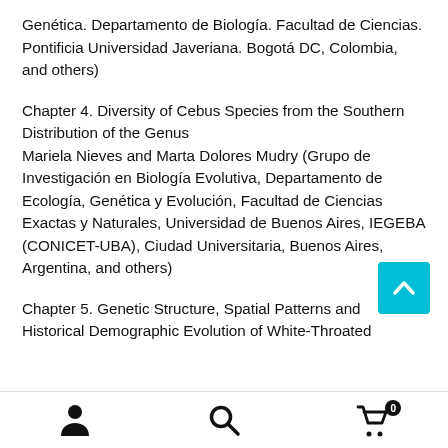Genética. Departamento de Biología. Facultad de Ciencias. Pontificia Universidad Javeriana. Bogotá DC, Colombia, and others)
Chapter 4. Diversity of Cebus Species from the Southern Distribution of the Genus
Mariela Nieves and Marta Dolores Mudry (Grupo de Investigación en Biología Evolutiva, Departamento de Ecología, Genética y Evolución, Facultad de Ciencias Exactas y Naturales, Universidad de Buenos Aires, IEGEBA (CONICET-UBA), Ciudad Universitaria, Buenos Aires, Argentina, and others)
Chapter 5. Genetic Structure, Spatial Patterns and Historical Demographic Evolution of White-Throated
[Figure (other): Back to top button — teal/cyan square with upward chevron arrow icon]
Navigation footer with user icon, search icon, and shopping cart icon with badge showing 0